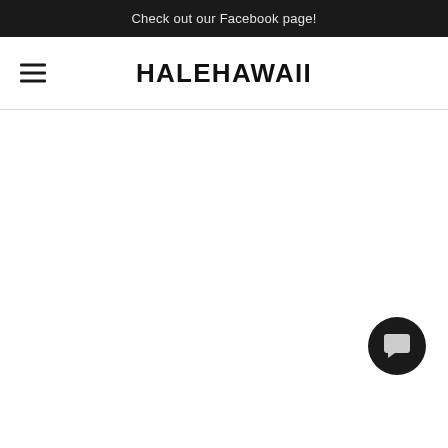Check out our Facebook page!
HALEHAWAII
[Figure (other): Chat button icon — black circle with white speech bubble symbol in bottom right corner]